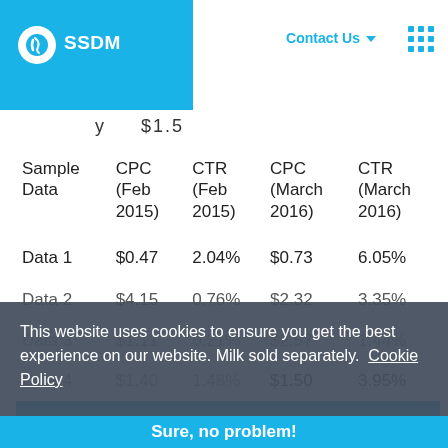SSDM | Contact Us
| Sample Data | CPC (Feb 2015) | CTR (Feb 2015) | CPC (March 2016) | CTR (March 2016) |
| --- | --- | --- | --- | --- |
| Data 1 | $0.47 | 2.04% | $0.73 | 6.05% |
| Data 2 | $4.15 | 0.76% | $2.32 | 3.35% |
| Data 3 | $1.11 | 0.21% | $2.57 | 1.44% |
| Data 4 | $1.40 | 1.48% | $1.50 | 3.95% |
| Data 5 | $1… | no p… | $0.97 | 7.87% |
This website uses cookies to ensure you get the best experience on our website. Milk sold separately. Cookie Policy
Sure, no problem!